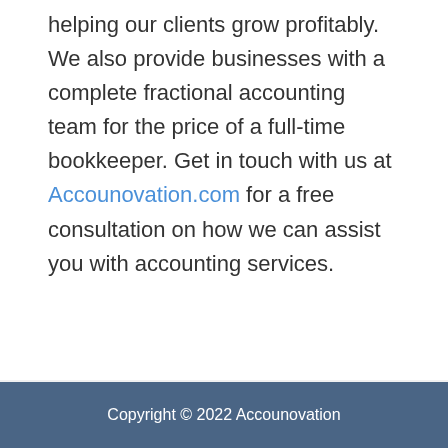helping our clients grow profitably. We also provide businesses with a complete fractional accounting team for the price of a full-time bookkeeper. Get in touch with us at Accounovation.com for a free consultation on how we can assist you with accounting services.
← Previous Post
Next Post →
Copyright © 2022 Accounovation